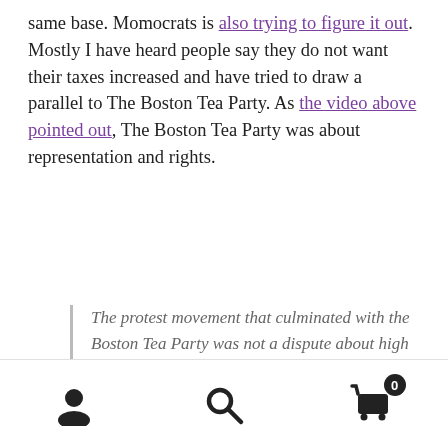same base. Momocrats is also trying to figure it out. Mostly I have heard people say they do not want their taxes increased and have tried to draw a parallel to The Boston Tea Party. As the video above pointed out, The Boston Tea Party was about representation and rights.
The protest movement that culminated with the Boston Tea Party was not a dispute about high taxes. The price of legally imported tea was actually reduced by the Tea Act of 1773. Protestors were instead concerned with a variety of other issues. The familiar "no taxation without representation" argument, along with the question of the extent of Parliament's
User icon, Search icon, Cart icon with badge 0